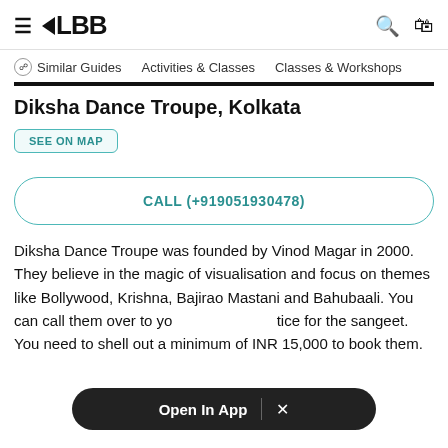≡ LBB [search icon] [bag icon]
Similar Guides   Activities & Classes   Classes & Workshops
Diksha Dance Troupe, Kolkata
SEE ON MAP
CALL (+919051930478)
Diksha Dance Troupe was founded by Vinod Magar in 2000. They believe in the magic of visualisation and focus on themes like Bollywood, Krishna, Bajirao Mastani and Bahubaali. You can call them over to your place for practice for the sangeet. You need to shell out a minimum of INR 15,000 to book them.
Open In App  ×